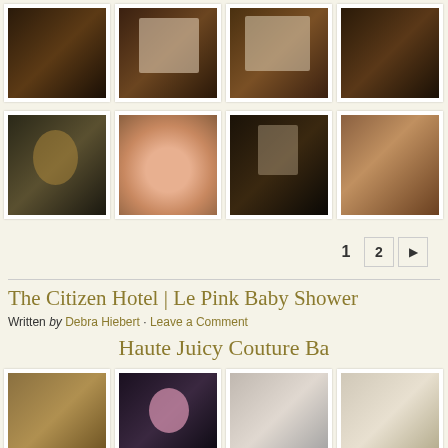[Figure (photo): Top photo grid row showing wedding/event photos - white cakes, decorative items on dark backgrounds]
[Figure (photo): Second photo grid row showing candleholder, pink roses bouquet, wedding reception crowd, and pastries/donuts]
1  2  ►
The Citizen Hotel | Le Pink Baby Shower
Written by Debra Hiebert · Leave a Comment
Haute Juicy Couture Ba
[Figure (photo): Bottom photo grid row showing baby shower photos - framed picture, person with pink wig, candy/photos display, draped fabric]